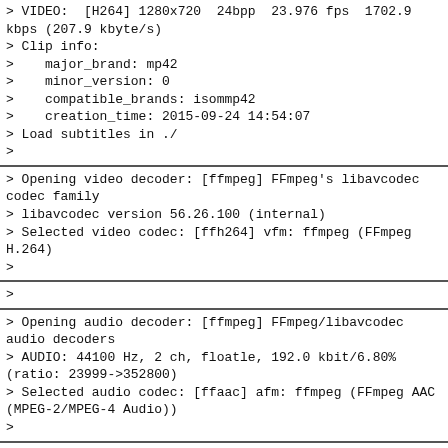> VIDEO:  [H264] 1280x720  24bpp  23.976 fps  1702.9 kbps (207.9 kbyte/s)
> Clip info:
>    major_brand: mp42
>    minor_version: 0
>    compatible_brands: isommp42
>    creation_time: 2015-09-24 14:54:07
> Load subtitles in ./
>
> Opening video decoder: [ffmpeg] FFmpeg's libavcodec codec family
> libavcodec version 56.26.100 (internal)
> Selected video codec: [ffh264] vfm: ffmpeg (FFmpeg H.264)
>
>
> Opening audio decoder: [ffmpeg] FFmpeg/libavcodec audio decoders
> AUDIO: 44100 Hz, 2 ch, floatle, 192.0 kbit/6.80% (ratio: 23999->352800)
> Selected audio codec: [ffaac] afm: ffmpeg (FFmpeg AAC (MPEG-2/MPEG-4 Audio))
>
> AO: [alsa] 48000Hz 2ch floatle (4 bytes per sample)
> Starting playback...
> Movie-Aspect is 1.78:1 - prescaling to correct movie